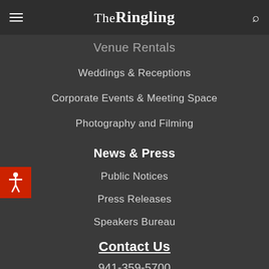The Ringling
Venue Rentals
Weddings & Receptions
Corporate Events & Meeting Space
Photography and Filming
News & Press
Public Notices
Press Releases
Speakers Bureau
Contact Us
941-359-5700
5401 Bay Shore Road
Sarasota, FL 34243
Open Daily 10:00 AM - 5:00 PM